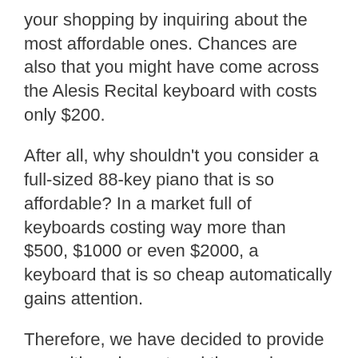your shopping by inquiring about the most affordable ones. Chances are also that you might have come across the Alesis Recital keyboard with costs only $200.
After all, why shouldn't you consider a full-sized 88-key piano that is so affordable? In a market full of keyboards costing way more than $500, $1000 or even $2000, a keyboard that is so cheap automatically gains attention.
Therefore, we have decided to provide you with an honest and thorough Alesis Recital review that will answer all your queries and allow you to decide between buying this keyboard or not.